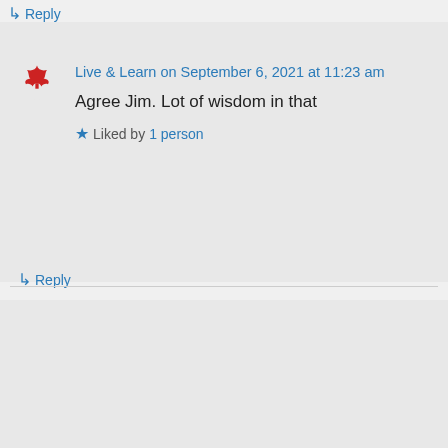↳ Reply
Live & Learn on September 6, 2021 at 11:23 am
Agree Jim. Lot of wisdom in that
★ Liked by 1 person
↳ Reply
Jim Borden on September 6, 2021 at 11:31 pm
long live Steve Jobs…
★ Liked by 1 person
↳ Reply